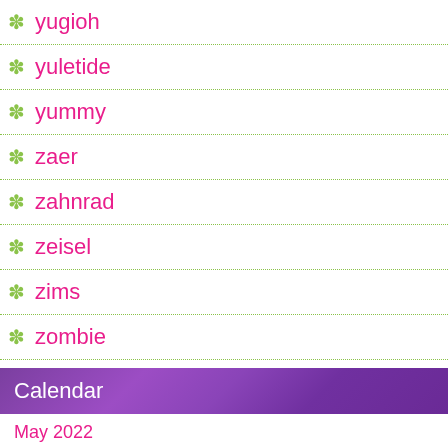yugioh
yuletide
yummy
zaer
zahnrad
zeisel
zims
zombie
Calendar
May 2022
| M | T | W | T | F | S | S |
| --- | --- | --- | --- | --- | --- | --- |
|  |  |  |  |  |  | 1 |
| 2 | 3 | 4 | 5 | 6 | 7 | 8 |
| 9 | 10 | 11 | 12 | 13 | 14 | 15 |